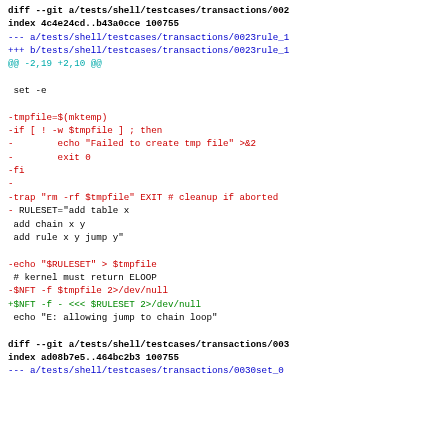diff --git a/tests/shell/testcases/transactions/002
index 4c4e24cd..b43a0cce 100755
--- a/tests/shell/testcases/transactions/0023rule_1
+++ b/tests/shell/testcases/transactions/0023rule_1
@@ -2,19 +2,10 @@

  set -e

-tmpfile=$(mktemp)
-if [ ! -w $tmpfile ] ; then
-        echo "Failed to create tmp file" >&2
-        exit 0
-fi
-
-trap "rm -rf $tmpfile" EXIT # cleanup if aborted
-
 RULESET="add table x
 add chain x y
 add rule x y jump y"

-echo "$RULESET" > $tmpfile
 # kernel must return ELOOP
-$NFT -f $tmpfile 2>/dev/null
+$NFT -f - <<< $RULESET 2>/dev/null
 echo "E: allowing jump to chain loop"

diff --git a/tests/shell/testcases/transactions/003
index ad08b7e5..464bc2b3 100755
--- a/tests/shell/testcases/transactions/0030set_0